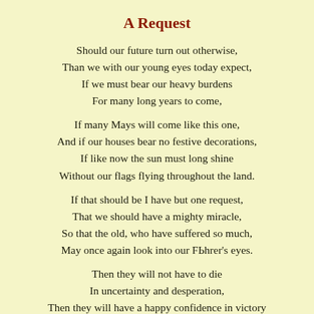A Request
Should our future turn out otherwise,
Than we with our young eyes today expect,
If we must bear our heavy burdens
For many long years to come,
If many Mays will come like this one,
And if our houses bear no festive decorations,
If like now the sun must long shine
Without our flags flying throughout the land.
If that should be I have but one request,
That we should have a mighty miracle,
So that the old, who have suffered so much,
May once again look into our Fьhrer's eyes.
Then they will not have to die
In uncertainty and desperation,
Then they will have a happy confidence in victory
To carry them through their final dying days.